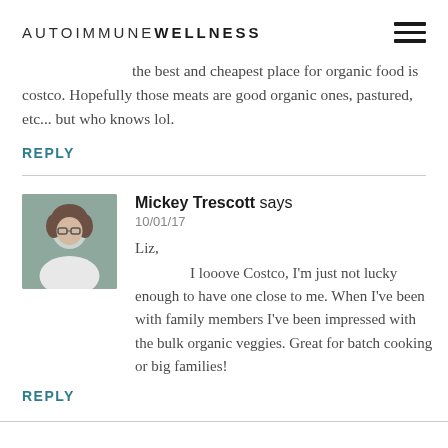AUTOIMMUNE WELLNESS
the best and cheapest place for organic food is costco. Hopefully those meats are good organic ones, pastured, etc... but who knows lol.
REPLY
Mickey Trescott says
10/01/17

Liz,
I looove Costco, I'm just not lucky enough to have one close to me. When I've been with family members I've been impressed with the bulk organic veggies. Great for batch cooking or big families!
REPLY